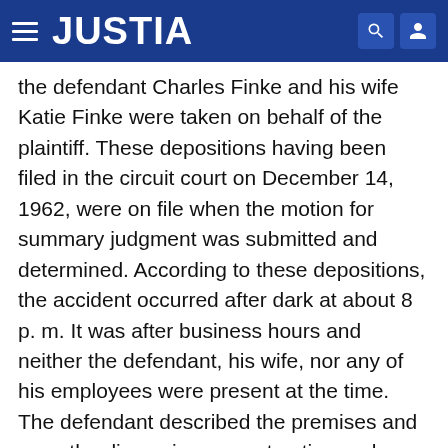JUSTIA
the defendant Charles Finke and his wife Katie Finke were taken on behalf of the plaintiff. These depositions having been filed in the circuit court on December 14, 1962, were on file when the motion for summary judgment was submitted and determined. According to these depositions, the accident occurred after dark at about 8 p. m. It was after business hours and neither the defendant, his wife, nor any of his employees were present at the time. The defendant described the premises and gave the dimensions, construction and weight of the monument involved. It was set on a level concrete base with a piece of plaster lath at each corner but was not caulked to the base as it would be when erected in a cemetery. The defendant testified that he never saw children play among the monuments and never had any reports of children so playing.
Civil Rule 74.04, V.A.M.R., relating to summary judgment